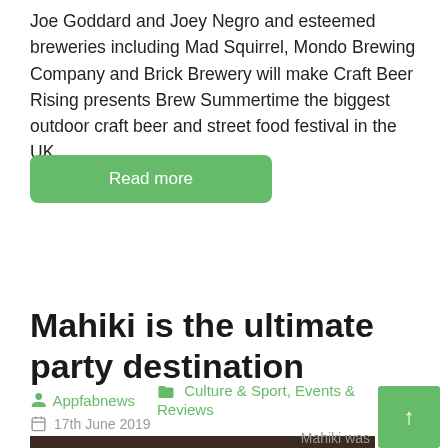Joe Goddard and Joey Negro and esteemed breweries including Mad Squirrel, Mondo Brewing Company and Brick Brewery will make Craft Beer Rising presents Brew Summertime the biggest outdoor craft beer and street food festival in the UK.
Read more
Mahiki is the ultimate party destination
Appfabnews   Culture & Sport, Events & Reviews
17th June 2019
[Figure (photo): Photo related to Mahiki party destination article]
Mahiki was